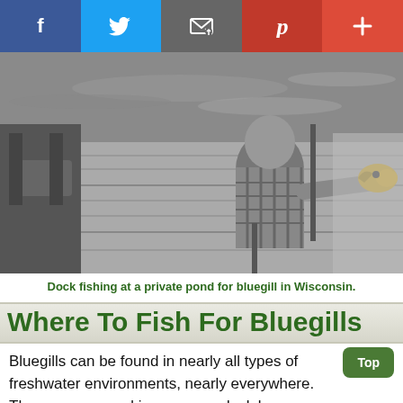[Figure (screenshot): Social media sharing bar with Facebook (blue), Twitter (light blue), Email (gray), Pinterest (red), and plus/more (orange-red) buttons]
[Figure (photo): Black and white photo of a man on a wooden dock holding up a bluegill fish toward the camera, with water and blurred background visible]
Dock fishing at a private pond for bluegill in Wisconsin.
Where To Fish For Bluegills
Bluegills can be found in nearly all types of freshwater environments, nearly everywhere. They roam around in many ponds, lakes, reservoirs, rivers,